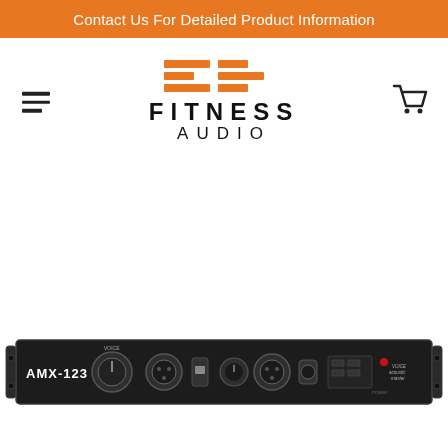Contact Us For Detailed Product Information
[Figure (logo): Fitness Audio logo with orange stripe graphic and bold text FITNESS AUDIO]
[Figure (photo): AMX-123 audio mixer unit front panel — black rack-mount device with knobs, inputs, and Voice Acoustic Master branding]